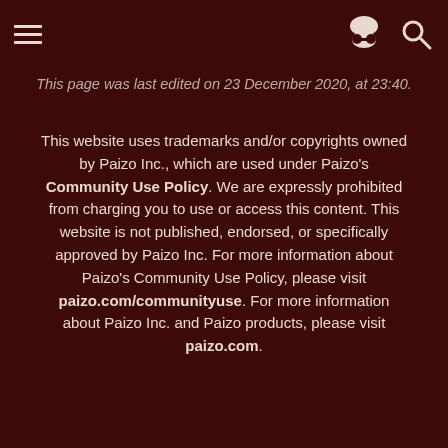This page was last edited on 23 December 2020, at 23:40.
This website uses trademarks and/or copyrights owned by Paizo Inc., which are used under Paizo's Community Use Policy. We are expressly prohibited from charging you to use or access this content. This website is not published, endorsed, or specifically approved by Paizo Inc. For more information about Paizo's Community Use Policy, please visit paizo.com/communityuse. For more information about Paizo Inc. and Paizo products, please visit paizo.com.
Privacy policy   About PathfinderWiki   Disclaimers
[Figure (logo): Powered by MediaWiki badge]
[Figure (logo): ENnies Gold 2012 award badge]